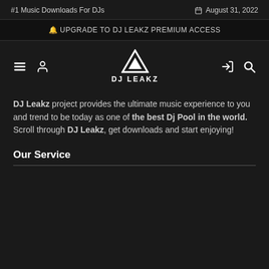#1 Music Downloads For DJs    August 31, 2022
🔔 UPGRADE TO DJ LEAKZ PREMIUM ACCESS
[Figure (logo): DJ Leakz logo with triangle icon and text DJ LEAKZ]
DJ Leakz project provides the ultimate music experience to you and trend to be today as one of the best Dj Pool in the world. Scroll through DJ Leakz, get downloads and start enjoying!
Our Service